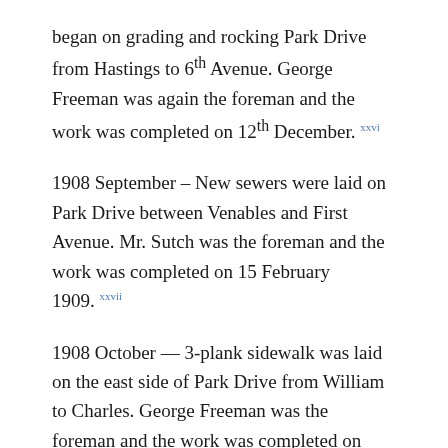began on grading and rocking Park Drive from Hastings to 6th Avenue. George Freeman was again the foreman and the work was completed on 12th December. [xxvi]
1908 September – New sewers were laid on Park Drive between Venables and First Avenue. Mr. Sutch was the foreman and the work was completed on 15 February 1909. [xxvii]
1908 October — 3-plank sidewalk was laid on the east side of Park Drive from William to Charles. George Freeman was the foreman and the work was completed on 12th November. [xxviii]
1908 December — 3-plank sidewalk was laid on the east side of Park Drive from Graveley to First. George